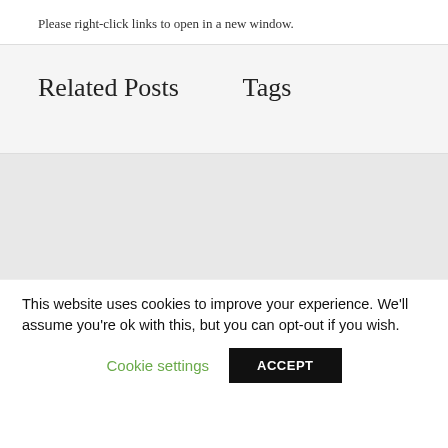Please right-click links to open in a new window.
Related Posts
Tags
This website uses cookies to improve your experience. We'll assume you're ok with this, but you can opt-out if you wish.
Cookie settings
ACCEPT